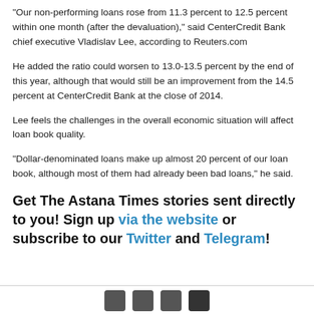“Our non-performing loans rose from 11.3 percent to 12.5 percent within one month (after the devaluation),” said CenterCredit Bank chief executive Vladislav Lee, according to Reuters.com
He added the ratio could worsen to 13.0-13.5 percent by the end of this year, although that would still be an improvement from the 14.5 percent at CenterCredit Bank at the close of 2014.
Lee feels the challenges in the overall economic situation will affect loan book quality.
“Dollar-denominated loans make up almost 20 percent of our loan book, although most of them had already been bad loans,” he said.
Get The Astana Times stories sent directly to you! Sign up via the website or subscribe to our Twitter and Telegram!